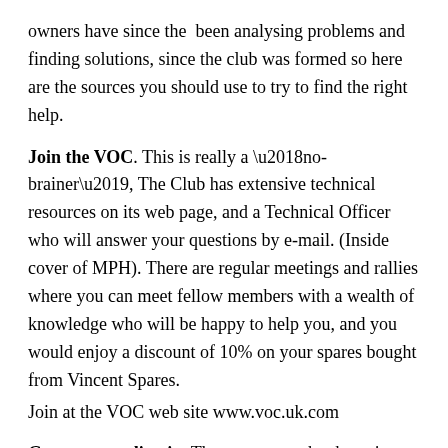owners have since the  been analysing problems and finding solutions, since the club was formed so here are the sources you should use to try to find the right help.
Join the VOC. This is really a ‘no-brainer’, The Club has extensive technical resources on its web page, and a Technical Officer who will answer your questions by e-mail. (Inside cover of MPH). There are regular meetings and rallies where you can meet fellow members with a wealth of knowledge who will be happy to help you, and you would enjoy a discount of 10% on your spares bought from Vincent Spares.
Join at the VOC web site www.voc.uk.com
Get some reading in. There are many books written about the marque, (see below). The best workshop manual is still Paul Richardson’s ‘Vincent Motorcycles’. And the ‘Riders Handbook’ is still in print. You may also need the original Parts List books and there is now a new laminated workshop-ready illustrated parts list. Finally for a full appreciation of the bikes ‘Know thy Beast’ by Eddie Stevens or ‘Original Vincent’ by J Bickerstaff, make a good read. Basic technical parts books are available in our web shop or the